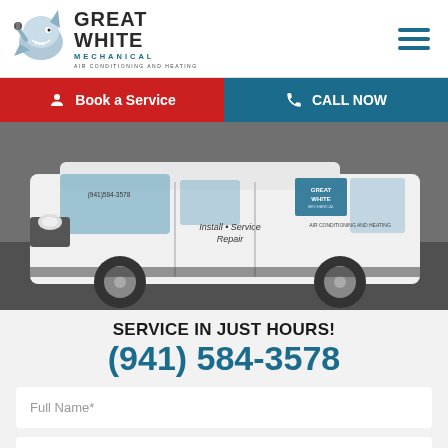[Figure (logo): Great White Mechanical Air Conditioning and Heating logo with shark mascot]
[Figure (other): Hamburger menu icon (three horizontal lines) in teal/blue color]
Book a Service
CALL NOW
[Figure (photo): White Great White Mechanical service van with logo and 'Install • Service Repair' text on door]
SERVICE IN JUST HOURS!
(941) 584-3578
Full Name*
Email Address*